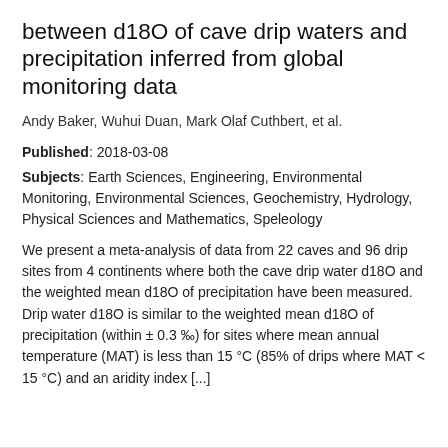between d18O of cave drip waters and precipitation inferred from global monitoring data
Andy Baker, Wuhui Duan, Mark Olaf Cuthbert, et al.
Published: 2018-03-08
Subjects: Earth Sciences, Engineering, Environmental Monitoring, Environmental Sciences, Geochemistry, Hydrology, Physical Sciences and Mathematics, Speleology
We present a meta-analysis of data from 22 caves and 96 drip sites from 4 continents where both the cave drip water d18O and the weighted mean d18O of precipitation have been measured. Drip water d18O is similar to the weighted mean d18O of precipitation (within ± 0.3 ‰) for sites where mean annual temperature (MAT) is less than 15 °C (85% of drips where MAT < 15 °C) and an aridity index [...]